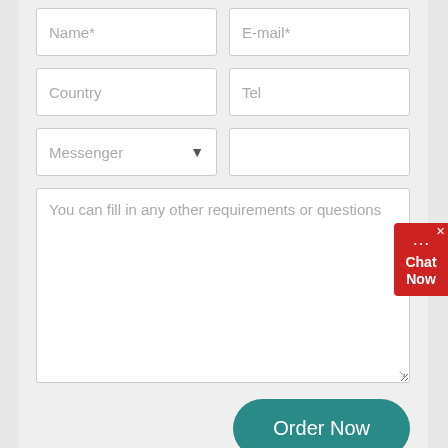Name*
E-mail*
Country
Tel
Messenger
You can fill in any other requirements or questions
Order Now
Chat Now